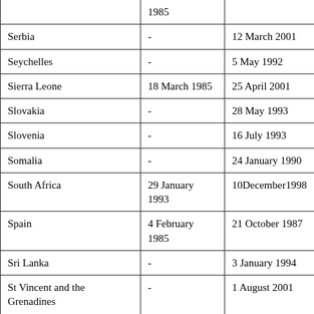| Country | Signature Date | Ratification/Accession Date |
| --- | --- | --- |
|  | 1985 |  |
| Serbia | - | 12 March 2001 |
| Seychelles | - | 5 May 1992 |
| Sierra Leone | 18 March 1985 | 25 April 2001 |
| Slovakia | - | 28 May 1993 |
| Slovenia | - | 16 July 1993 |
| Somalia | - | 24 January 1990 |
| South Africa | 29 January 1993 | 10December1998 |
| Spain | 4 February 1985 | 21 October 1987 |
| Sri Lanka | - | 3 January 1994 |
| St Vincent and the Grenadines | - | 1 August 2001 |
| Sudan | 4 June 1986 | - |
| Swaziland | - | 26 March 2004 |
| Sweden | 4 February 1985 | 8 January 1986 |